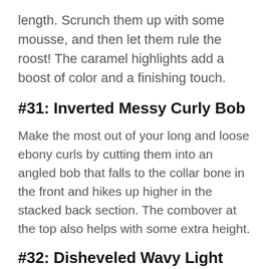length. Scrunch them up with some mousse, and then let them rule the roost! The caramel highlights add a boost of color and a finishing touch.
#31: Inverted Messy Curly Bob
Make the most out of your long and loose ebony curls by cutting them into an angled bob that falls to the collar bone in the front and hikes up higher in the stacked back section. The combover at the top also helps with some extra height.
#32: Disheveled Wavy Light Brown Bob
Choose a stacked inverted bob cut to give a flattering shape to your loose waves and select a